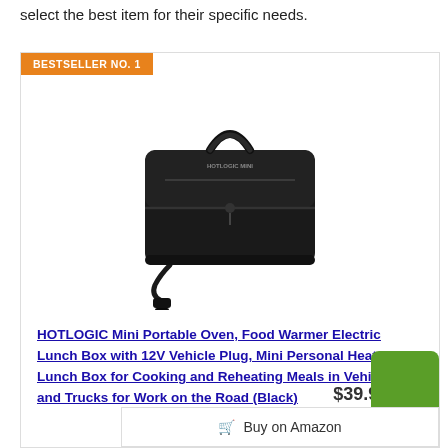select the best item for their specific needs.
BESTSELLER NO. 1
[Figure (photo): Black HOTLOGIC Mini portable food warmer/lunch box with a carry handle on top and a 12V vehicle plug cord attached at the bottom left.]
HOTLOGIC Mini Portable Oven, Food Warmer Electric Lunch Box with 12V Vehicle Plug, Mini Personal Heated Lunch Box for Cooking and Reheating Meals in Vehicles and Trucks for Work on the Road (Black)
$39.95
Buy on Amazon